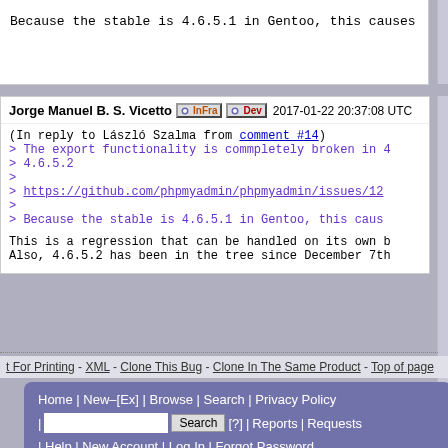Because the stable is 4.6.5.1 in Gentoo, this causes
Jorge Manuel B. S. Vicetto [Infra] [Dev] 2017-01-22 20:37:08 UTC
(In reply to László Szalma from comment #14)
> The export functionality is commpletely broken in 4.6.5.2
> 
> https://github.com/phpmyadmin/phpmyadmin/issues/12...
> 
> Because the stable is 4.6.5.1 in Gentoo, this caus...

This is a regression that can be handled on its own b...
Also, 4.6.5.2 has been in the tree since December 7th...
t For Printing - XML - Clone This Bug - Clone In The Same Product - Top of page
Home | New–[Ex] | Browse | Search | Privacy Policy | [?] | Reports | Requests | Help | New Account | Log In | Forgot Password